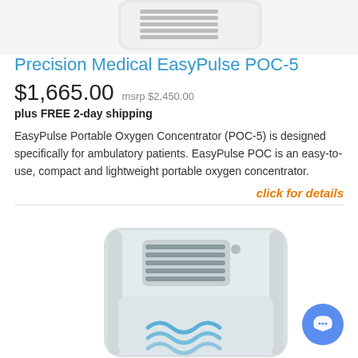[Figure (photo): Top portion of a white portable oxygen concentrator device against white background]
Precision Medical EasyPulse POC-5
$1,665.00  msrp $2,450.00
plus FREE 2-day shipping
EasyPulse Portable Oxygen Concentrator (POC-5) is designed specifically for ambulatory patients. EasyPulse POC is an easy-to-use, compact and lightweight portable oxygen concentrator.
click for details
[Figure (photo): White portable oxygen concentrator device (EasyPulse POC-5) showing front panel with ventilation grilles and wave logo in blue]